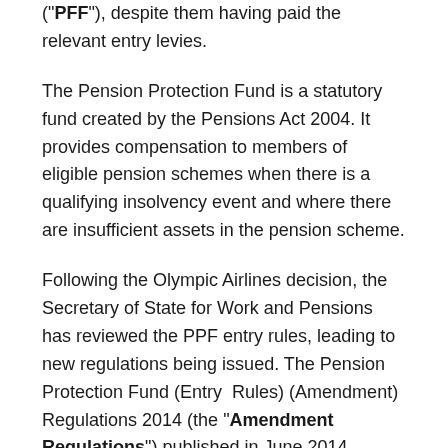("PFF"), despite them having paid the relevant entry levies.
The Pension Protection Fund is a statutory fund created by the Pensions Act 2004. It provides compensation to members of eligible pension schemes when there is a qualifying insolvency event and where there are insufficient assets in the pension scheme.
Following the Olympic Airlines decision, the Secretary of State for Work and Pensions has reviewed the PPF entry rules, leading to new regulations being issued. The Pension Protection Fund (Entry Rules) (Amendment) Regulations 2014 (the "Amendment Regulations") published in June 2014 provide that from 21 July 2014 to 21 July